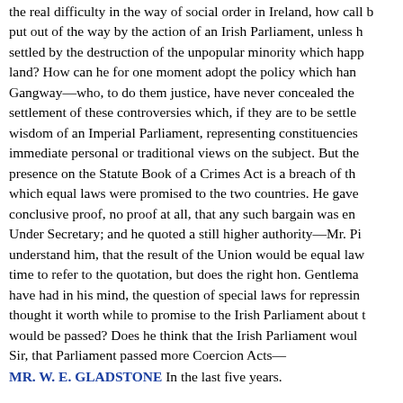the real difficulty in the way of social order in Ireland, how call put out of the way by the action of an Irish Parliament, unless h settled by the destruction of the unpopular minority which happ land? How can he for one moment adopt the policy which han Gangway—who, to do them justice, have never concealed the settlement of these controversies which, if they are to be settle wisdom of an Imperial Parliament, representing constituencies immediate personal or traditional views on the subject. But the presence on the Statute Book of a Crimes Act is a breach of th which equal laws were promised to the two countries. He gave conclusive proof, no proof at all, that any such bargain was en Under Secretary; and he quoted a still higher authority—Mr. Pi understand him, that the result of the Union would be equal la time to refer to the quotation, but does the right hon. Gentlema have had in his mind, the question of special laws for repressin thought it worth while to promise to the Irish Parliament about would be passed? Does he think that the Irish Parliament woul Sir, that Parliament passed more Coercion Acts—
MR. W. E. GLADSTONE In the last five years.